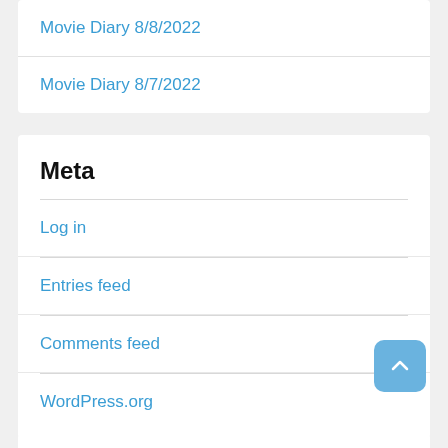Movie Diary 8/8/2022
Movie Diary 8/7/2022
Meta
Log in
Entries feed
Comments feed
WordPress.org